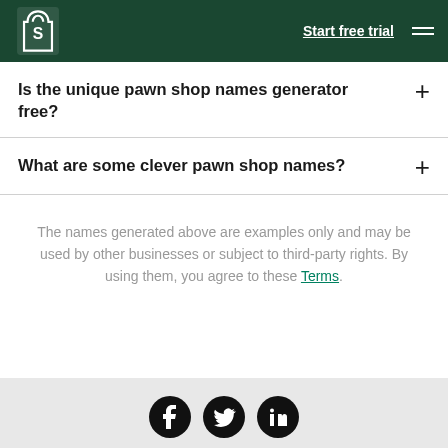Shopify – Start free trial
Is the unique pawn shop names generator free?
What are some clever pawn shop names?
The names generated above are examples only and may be used by other businesses or subject to third-party rights. By using them, you agree to these Terms.
Social icons: Facebook, Twitter, LinkedIn